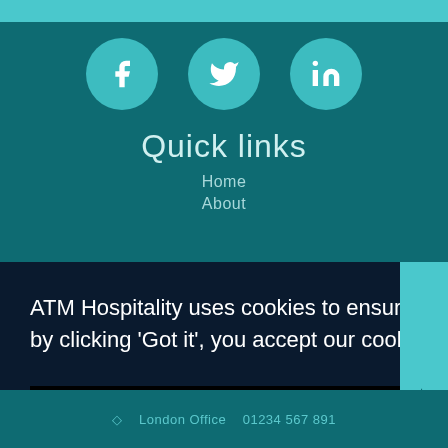[Figure (infographic): Social media icons: Facebook, Twitter, LinkedIn as teal circles on dark teal background]
Quick links
Home
About
ATM Hospitality uses cookies to ensure you get the best experience on our website, by clicking 'Got it', you accept our cookies policy.  Cookies Policy
Got it!
Sign up to our newsletter